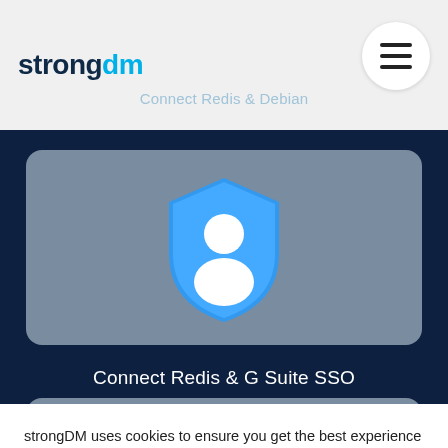[Figure (logo): strongDM logo with 'strong' in dark navy bold and 'dm' in cyan/blue]
Connect Redis & Debian
[Figure (illustration): Blue shield icon with white person/user silhouette inside, on a gray rounded card with dark navy background]
Connect Redis & G Suite SSO
strongDM uses cookies to ensure you get the best experience on our website. Learn more
Got it!